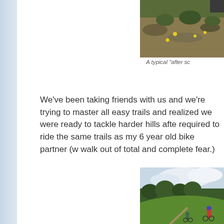[Figure (photo): Top portion of an outdoor photo showing ground with rocks, dirt, and yellow wildflowers]
A typical "after sc
We've been taking friends with us and we're trying to master all easy trails and realized we were ready to tackle harder hills after required to ride the same trails as my 6 year old bike partner (w walk out of total and complete fear.)
[Figure (photo): Photo of cyclists on a grassy hillside trail with trees in background and cloudy sky]